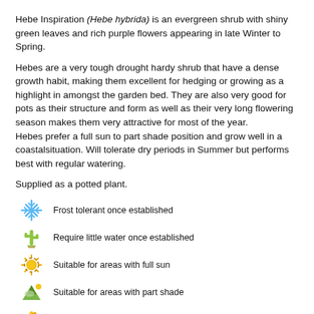Hebe Inspiration (Hebe hybrida) is an evergreen shrub with shiny green leaves and rich purple flowers appearing in late Winter to Spring.
Hebes are a very tough drought hardy shrub that have a dense growth habit, making them excellent for hedging or growing as a highlight in amongst the garden bed. They are also very good for pots as their structure and form as well as their very long flowering season makes them very attractive for most of the year.
Hebes prefer a full sun to part shade position and grow well in a coastalsituation. Will tolerate dry periods in Summer but performs best with regular watering.
Supplied as a potted plant.
Frost tolerant once established
Require little water once established
Suitable for areas with full sun
Suitable for areas with part shade
Grows 1m wide